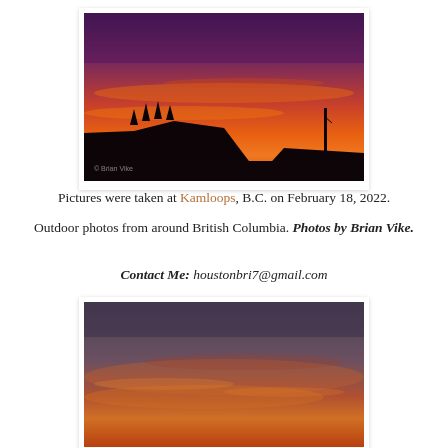[Figure (photo): Dramatic sunset photo taken at Kamloops, B.C. on February 18, 2022, showing an orange and red sky over a dark silhouetted hillside with a structure visible on the right.]
Pictures were taken at Kamloops, B.C. on February 18, 2022.
Outdoor photos from around British Columbia. Photos by Brian Vike.
Contact Me: houstonbri7@gmail.com
[Figure (photo): Second sunset photo showing an orange and dark grey sky with soft cloud layers, taken at Kamloops, B.C.]